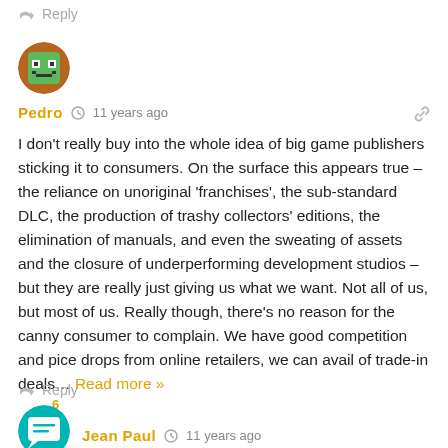↩ Reply
[Figure (illustration): Avatar of user Pedro — pixel art style green creature face on brown/orange circular background]
Pedro  🕐  11 years ago
I don't really buy into the whole idea of big game publishers sticking it to consumers. On the surface this appears true – the reliance on unoriginal 'franchises', the sub-standard DLC, the production of trashy collectors' editions, the elimination of manuals, and even the sweating of assets and the closure of underperforming development studios – but they are really just giving us what we want. Not all of us, but most of us. Really though, there's no reason for the canny consumer to complain. We have good competition and pice drops from online retailers, we can avail of trade-in deals… Read more »
↩ Reply
6
[Figure (illustration): Avatar of user Jean Paul — chat bubble icon on teal/green circular background]
Jean Paul  🕐  11 years ago